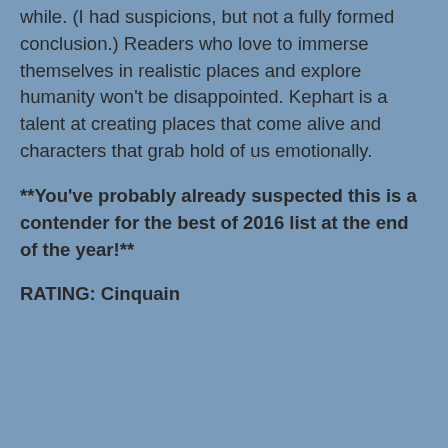while. (I had suspicions, but not a fully formed conclusion.) Readers who love to immerse themselves in realistic places and explore humanity won't be disappointed. Kephart is a talent at creating places that come alive and characters that grab hold of us emotionally.
**You've probably already suspected this is a contender for the best of 2016 list at the end of the year!**
RATING: Cinquain